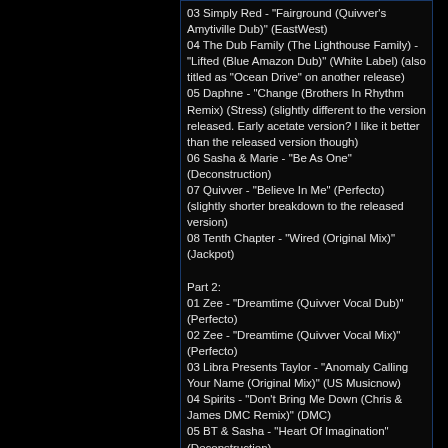03 Simply Red - "Fairground (Quivver's Amytiville Dub)" (EastWest)
04 The Dub Family (The Lighthouse Family) - "Lifted (Blue Amazon Dub)" (White Label) (also titled as "Ocean Drive" on another release)
05 Daphne - "Change (Brothers In Rhythm Remix) (Stress) (slightly different to the version released. Early acetate version? I like it better than the released version though)
06 Sasha & Marie - "Be As One" (Deconstruction)
07 Quivver - "Believe In Me" (Perfecto) (slightly shorter breakdown to the released version)
08 Tenth Chapter - "Wired (Original Mix)" (Jackpot)

Part 2:
01 Zee - "Dreamtime (Quivver Vocal Dub)" (Perfecto)
02 Zee - "Dreamtime (Quivver Vocal Mix)" (Perfecto)
03 Libra Presents Taylor - "Anomaly Calling Your Name (Original Mix)" (US Musicnow)
04 Spirits - "Don't Bring Me Down (Chris & James DMC Remix)" (DMC)
05 BT & Sasha - "Heart Of Imagination" (Deconstruction)
06 Crescendo - "Are You Out There (Original Mix)" (FFrr)
07 Blue Amazon - "No Other Love (Original Mix)" (Jackpot)
[ Posted on 2011-05-02 19:23:41 ]
CheefRoberts writes: typo
Sasha & Maria*
[ Posted on 2011-05-02 19:27:03 ]
Wicksee writes: Stunning